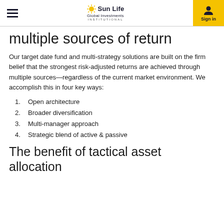Sun Life Global Investments Institutional | Sign in
multiple sources of return
Our target date fund and multi-strategy solutions are built on the firm belief that the strongest risk-adjusted returns are achieved through multiple sources—regardless of the current market environment. We accomplish this in four key ways:
1. Open architecture
2. Broader diversification
3. Multi-manager approach
4. Strategic blend of active & passive
The benefit of tactical asset allocation